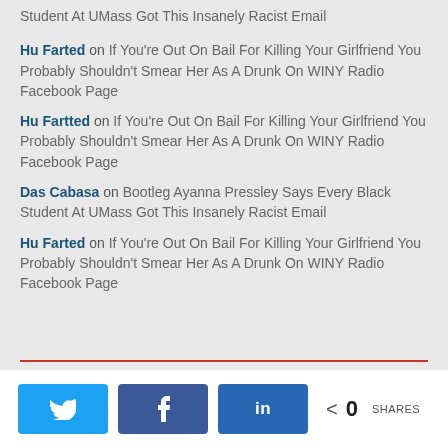Student At UMass Got This Insanely Racist Email
Hu Farted on If You're Out On Bail For Killing Your Girlfriend You Probably Shouldn't Smear Her As A Drunk On WINY Radio Facebook Page
Hu Fartted on If You're Out On Bail For Killing Your Girlfriend You Probably Shouldn't Smear Her As A Drunk On WINY Radio Facebook Page
Das Cabasa on Bootleg Ayanna Pressley Says Every Black Student At UMass Got This Insanely Racist Email
Hu Farted on If You're Out On Bail For Killing Your Girlfriend You Probably Shouldn't Smear Her As A Drunk On WINY Radio Facebook Page
Twitter Facebook LinkedIn < 0 SHARES